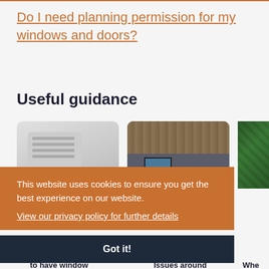Do I need planning permission for my windows and doors?
Useful guidance
[Figure (photo): Photo of a ceiling ventilation unit]
[Figure (photo): Photo of a house roof with tiles and a window]
[Figure (photo): Photo of green mesh/wire fencing]
This website uses cookies to ensure you get the best experience on our website.
View our privacy policy for further details
Got it!
to have window
Issues around
Whe